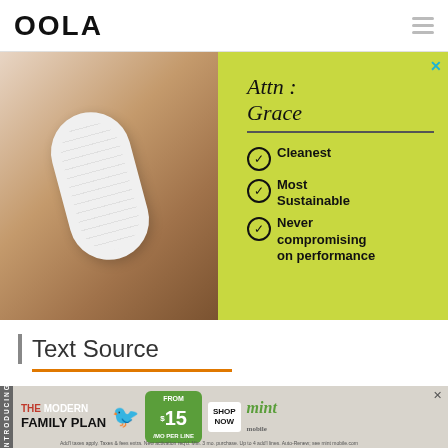OOLA
[Figure (photo): Advertisement for Attn: Grace products. Shows a person of color holding a white sanitary pad against a yellow-green background with text: 'Attn: Grace — Cleanest, Most Sustainable, Never compromising on performance']
| Text Source
[Figure (infographic): Bottom banner advertisement for Mint Mobile Modern Family Plan: $15/mo per line, with SHOP NOW button]